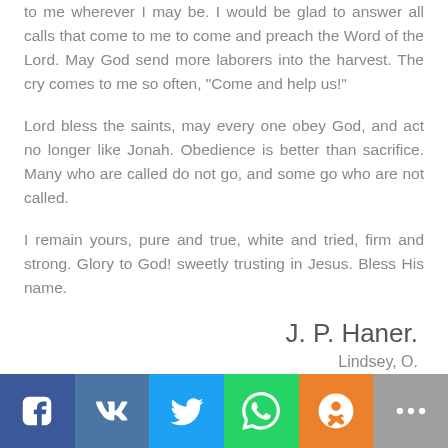to me wherever I may be. I would be glad to answer all calls that come to me to come and preach the Word of the Lord. May God send more laborers into the harvest. The cry comes to me so often, “Come and help us!”
Lord bless the saints, may every one obey God, and act no longer like Jonah. Obedience is better than sacrifice. Many who are called do not go, and some go who are not called.
I remain yours, pure and true, white and tried, firm and strong. Glory to God! sweetly trusting in Jesus. Bless His name.
J. P. Haner.
Lindsey, O.
[Figure (other): Social media sharing bar with Facebook, VK, Twitter, WhatsApp, Odnoklassniki, and more buttons]